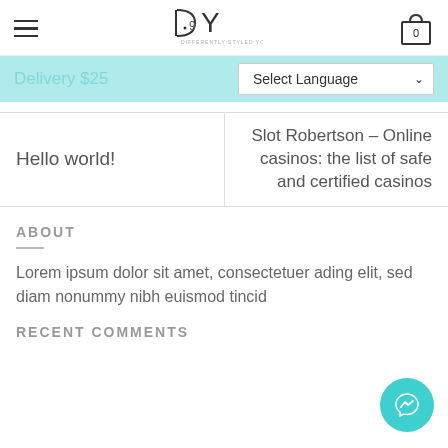DSY — DIFFERENTLY STYLED YOU | Hamburger menu | Cart (0)
Delivery $25 | Select Language
Hello world!
Slot Robertson – Online casinos: the list of safe and certified casinos
ABOUT
Lorem ipsum dolor sit amet, consectetuer adipiscing elit, sed diam nonummy nibh euismod tincid
RECENT COMMENTS